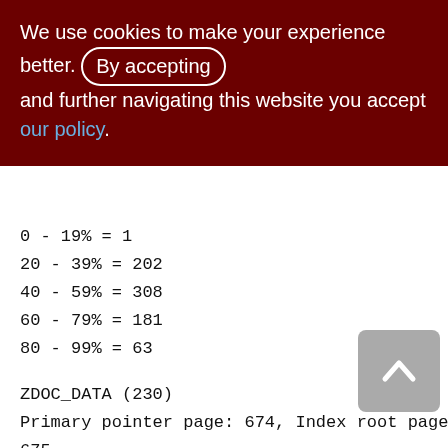We use cookies to make your experience better. By accepting and further navigating this website you accept our policy.
0 - 19% = 1
20 - 39% = 202
40 - 59% = 308
60 - 79% = 181
80 - 99% = 63
ZDOC_DATA (230)
Primary pointer page: 674, Index root page: 675
Total formats: 1, used formats: 0
Average record length: 0.00, total records: 0
Average version length: 0.00, total
[Figure (other): Back to top arrow button (grey rounded square with upward chevron)]